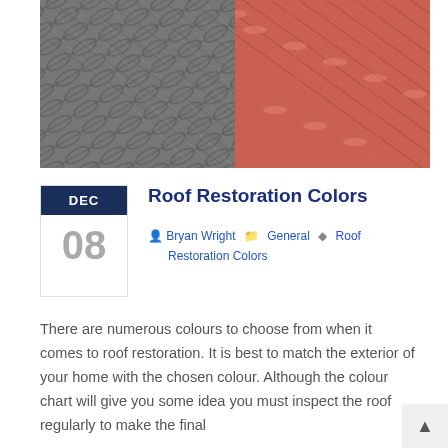[Figure (photo): Before and after comparison of roof tiles: left side shows grey/weathered tiles, right side shows restored terracotta/red-painted tiles]
Roof Restoration Colors
Bryan Wright   General   Roof Restoration Colors
There are numerous colours to choose from when it comes to roof restoration. It is best to match the exterior of your home with the chosen colour. Although the colour chart will give you some idea you must inspect the roof regularly to make the final